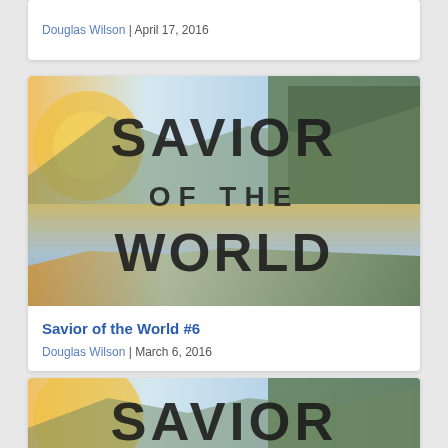Douglas Wilson | April 17, 2016
[Figure (illustration): Book cover image for 'Savior of the World' showing a scenic lake landscape with golden sunset on the left and green forest on the right, with the text SAVIOR OF THE WORLD in large bold letters]
Savior of the World #6
Douglas Wilson | March 6, 2016
[Figure (illustration): Partial book cover image for another 'Savior of the World' entry, showing same landscape with SAVIOR text visible]